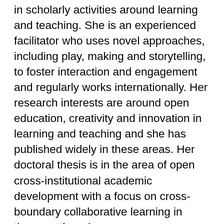in scholarly activities around learning and teaching. She is an experienced facilitator who uses novel approaches, including play, making and storytelling, to foster interaction and engagement and regularly works internationally. Her research interests are around open education, creativity and innovation in learning and teaching and she has published widely in these areas. Her doctoral thesis is in the area of open cross-institutional academic development with a focus on cross-boundary collaborative learning in these settings (see https://chrissinerantzi.wordpress.com/phd/). Chrissi has founded a range of successful open staff development initiatives, co-created many Open Educational Resources and supported a range of open educational projects. The open Creativity for Learning in Higher Education (#creativeHE) community and the international #LTHEchat she co-founded are two such examples. Chrissi is also the mentor co-ordinator of the Open Education for a Better World Programme. To find